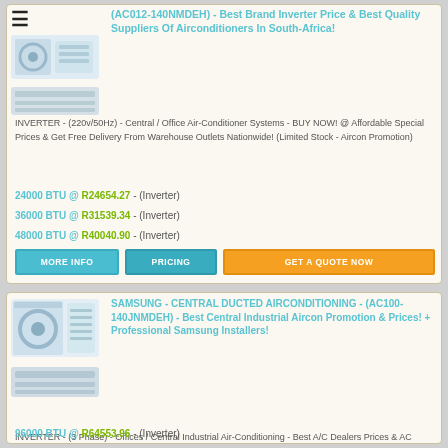[Figure (photo): Product images of Samsung central ducted aircon units with hamburger menu icon]
(AC012-140NMDEH) - Best Brand Inverter Price & Best Quality Suppliers Of Airconditioners In South-Africa!
INVERTER - (220v/50Hz) - Central / Office Air-Conditioner Systems - BUY NOW! @ Affordable Special Prices & Get Free Delivery From Warehouse Outlets Nationwide! (Limited Stock - Aircon Promotion)
24000 BTU @ R24654.27 - (Inverter)
36000 BTU @ R31539.34 - (Inverter)
48000 BTU @ R40040.90 - (Inverter)
[Figure (photo): Product images of Samsung central ducted aircon units (outdoor and indoor unit)]
SAMSUNG - CENTRAL DUCTED AIRCONDITIONING - (AC100-140JNMDEH) - Best Central Industrial Aircon Promotion & Prices! + Professional Samsung Installers!
INVERTER - (3 Phase) - Offices / Central Industrial Air-Conditioning - Best A/C Dealers Prices & AC Specials + TOP Samsung Accredited Installers! (FREE Delivery Nationwide On Purchase Of Aircon Units)
96000 BTU @ R64553.96 - (Inverter)